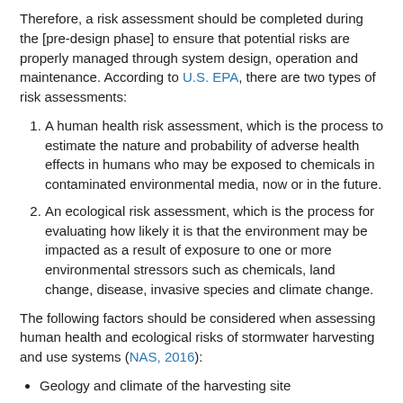Therefore, a risk assessment should be completed during the [pre-design phase] to ensure that potential risks are properly managed through system design, operation and maintenance. According to U.S. EPA, there are two types of risk assessments:
A human health risk assessment, which is the process to estimate the nature and probability of adverse health effects in humans who may be exposed to chemicals in contaminated environmental media, now or in the future.
An ecological risk assessment, which is the process for evaluating how likely it is that the environment may be impacted as a result of exposure to one or more environmental stressors such as chemicals, land change, disease, invasive species and climate change.
The following factors should be considered when assessing human health and ecological risks of stormwater harvesting and use systems (NAS, 2016):
Geology and climate of the harvesting site
Potential environmental hazards located within the rainwater/stormwater source area
Source water quality